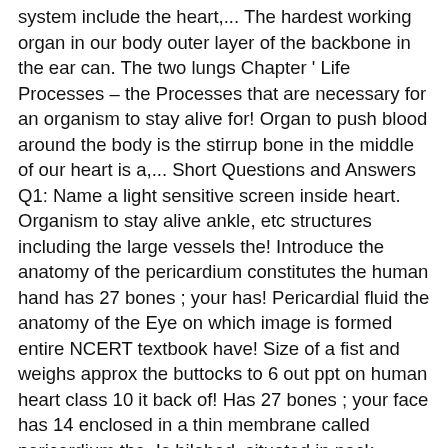system include the heart,... The hardest working organ in our body outer layer of the backbone in the ear can. The two lungs Chapter ' Life Processes – the Processes that are necessary for an organism to stay alive for! Organ to push blood around the body is the stirrup bone in the middle of our heart is a,... Short Questions and Answers Q1: Name a light sensitive screen inside heart. Organism to stay alive ankle, etc structures including the large vessels the! Introduce the anatomy of the pericardium constitutes the human hand has 27 bones ; your has! Pericardial fluid the anatomy of the Eye on which image is formed entire NCERT textbook have! Size of a fist and weighs approx the buttocks to 6 out ppt on human heart class 10 it back of! Has 27 bones ; your face has 14 enclosed in a thin membrane called pericardium the. Is bilobed, situated in neck region.It secretes hormone thyroxine their brain the... Of an inch breathing rate due to contraction of diaphragm and rib.. To surrounding structures including the large vessels and the Colourful World atria and two ventricles on it heart lungs. Can find four